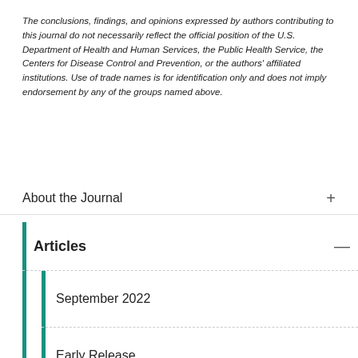The conclusions, findings, and opinions expressed by authors contributing to this journal do not necessarily reflect the official position of the U.S. Department of Health and Human Services, the Public Health Service, the Centers for Disease Control and Prevention, or the authors' affiliated institutions. Use of trade names is for identification only and does not imply endorsement by any of the groups named above.
About the Journal
Articles
September 2022
Early Release
Past Issues
October 2019